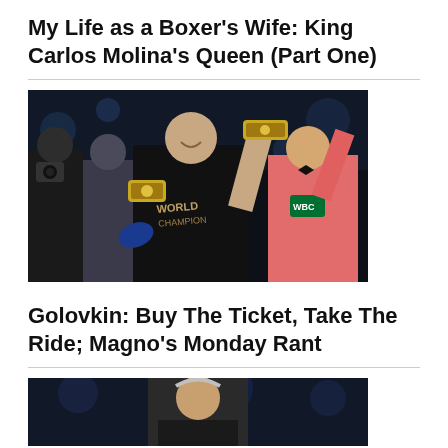My Life as a Boxer's Wife: King Carlos Molina's Queen (Part One)
[Figure (photo): Boxing celebration photo: a smiling boxer in a black WBO t-shirt holding championship belts with gloves, surrounded by team members and a referee in a pink shirt with WBC visible]
Golovkin: Buy The Ticket, Take The Ride; Magno's Monday Rant
[Figure (photo): Partially visible boxing photo at bottom of page, cropped]